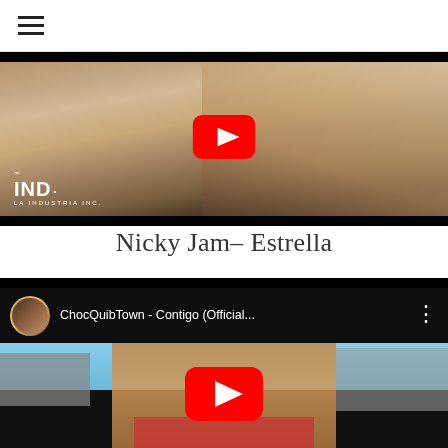hamburger menu icon
[Figure (screenshot): YouTube video thumbnail for Nicky Jam - Estrella, showing a close-up of a woman's face and hand near her lips, with IND La Industria Inc. logo in the lower left and YouTube play button in center]
Nicky Jam– Estrella
[Figure (screenshot): YouTube embedded video for ChocQuibTown - Contigo (Official...), showing channel avatar, title bar at top, and a woman with braided hair and sunglasses in an urban setting with YouTube play button overlay]